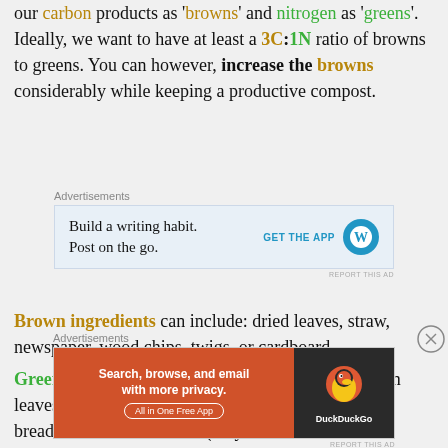our carbon products as 'browns' and nitrogen as 'greens'. Ideally, we want to have at least a 3C:1N ratio of browns to greens. You can however, increase the browns considerably while keeping a productive compost.
[Figure (other): WordPress advertisement: 'Build a writing habit. Post on the go.' with GET THE APP button and WordPress logo]
Brown ingredients can include: dried leaves, straw, newspaper, wood chips, twigs, or cardboard.
Green ingredients can include: grass clippings, fresh leaves, fruit & vegetables, eggshells, coffee grinds, bread and animal manure. (only use
[Figure (other): DuckDuckGo advertisement: 'Search, browse, and email with more privacy. All in One Free App' with DuckDuckGo logo]